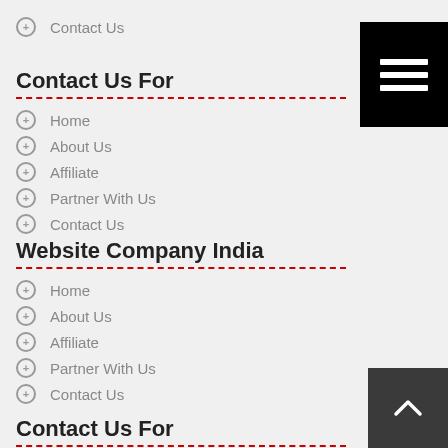Contact Us
Contact Us For
Home
About Us
Affiliate
Partner With Us
Contact Us
Website Company India
Home
About Us
Affiliate
Partner With Us
Contact Us
Contact Us For
Home
About Us
Affiliate